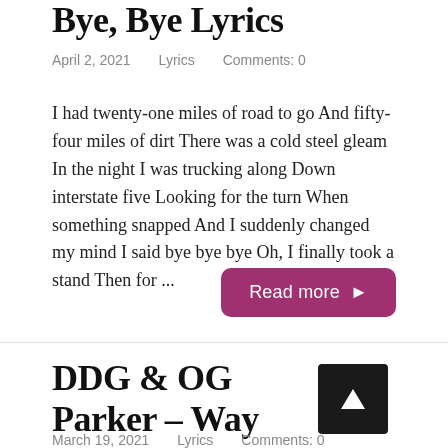Bye, Bye Lyrics
April 2, 2021    Lyrics    Comments: 0
I had twenty-one miles of road to go And fifty-four miles of dirt There was a cold steel gleam In the night I was trucking along Down interstate five Looking for the turn When something snapped And I suddenly changed my mind I said bye bye bye Oh, I finally took a stand Then for ...
Read more ▶
DDG & OG Parker – Way You Talk Lyrics
March 19, 2021    Lyrics    Comments: 0